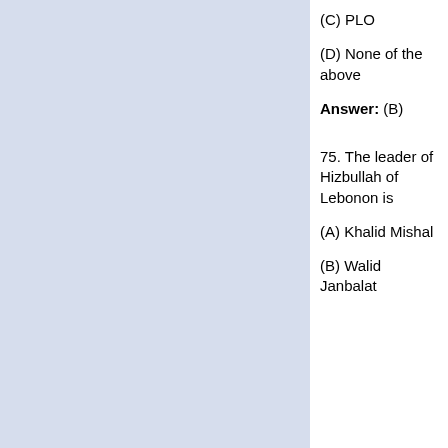(C) PLO
(D) None of the above
Answer: (B)
75. The leader of Hizbullah of Lebonon is
(A) Khalid Mishal
(B) Walid Janbalat